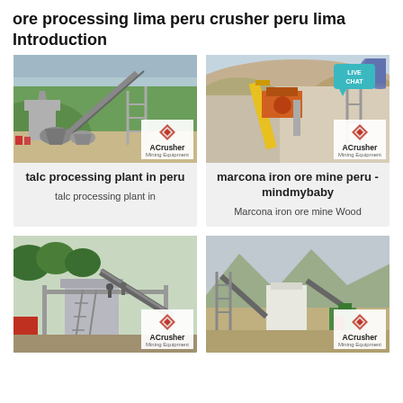ore processing lima peru crusher peru lima Introduction
[Figure (photo): Mining/crushing plant with conveyor belts and processing equipment on hillside - ACrusher Mining Equipment]
[Figure (photo): Iron ore mine with yellow conveyor and industrial equipment - ACrusher Mining Equipment - LIVE CHAT badge visible]
talc processing plant in peru
talc processing plant in
marcona iron ore mine peru - mindmybaby
Marcona iron ore mine Wood
[Figure (photo): Industrial processing plant with workers on platform and metal structures - ACrusher Mining Equipment]
[Figure (photo): Open-air mining/crushing facility with mountains in background - ACrusher Mining Equipment]